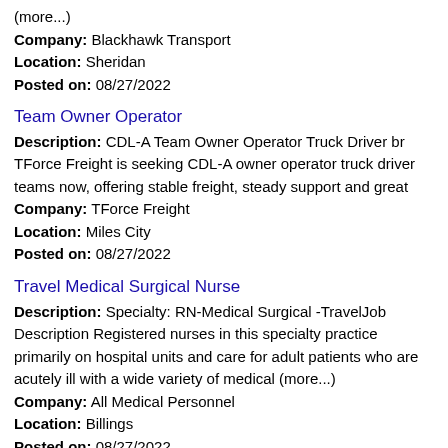(more...)
Company: Blackhawk Transport
Location: Sheridan
Posted on: 08/27/2022
Team Owner Operator
Description: CDL-A Team Owner Operator Truck Driver br TForce Freight is seeking CDL-A owner operator truck driver teams now, offering stable freight, steady support and great
Company: TForce Freight
Location: Miles City
Posted on: 08/27/2022
Travel Medical Surgical Nurse
Description: Specialty: RN-Medical Surgical -TravelJob Description Registered nurses in this specialty practice primarily on hospital units and care for adult patients who are acutely ill with a wide variety of medical (more...)
Company: All Medical Personnel
Location: Billings
Posted on: 08/27/2022